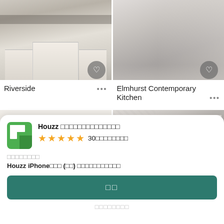[Figure (photo): Kitchen photo showing white cabinets and island - Riverside]
[Figure (photo): Kitchen photo showing contemporary design - Elmhurst Contemporary Kitchen]
Riverside ...
Elmhurst Contemporary Kitchen ...
[Figure (photo): Room photo with wall sconces]
[Figure (photo): Kitchen photo with shelves and window]
Houzz □□□□□□□□□□□□□□
★★★★★ 30□□□□□□□□
□□□□□□□□
Houzz iPhone□□□ (□□) □□□□□□□□□□□
□□
□□□□□□□□